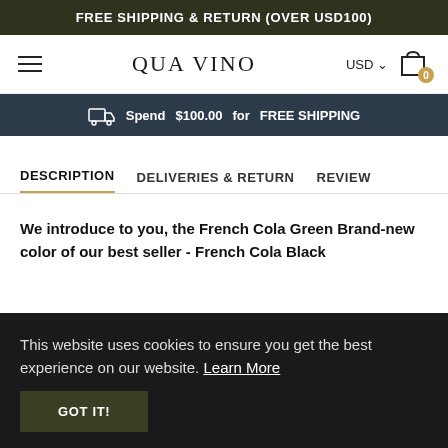FREE SHIPPING & RETURN (OVER USD100)
[Figure (screenshot): QUA VINO logo with hamburger menu, USD currency selector, and shopping cart icon with badge showing 0]
Spend $100.00 for FREE SHIPPING
DESCRIPTION | DELIVERIES & RETURN | REVIEW
We introduce to you, the French Cola Green Brand-new color of our best seller - French Cola Black
This website uses cookies to ensure you get the best experience on our website. Learn More GOT IT!